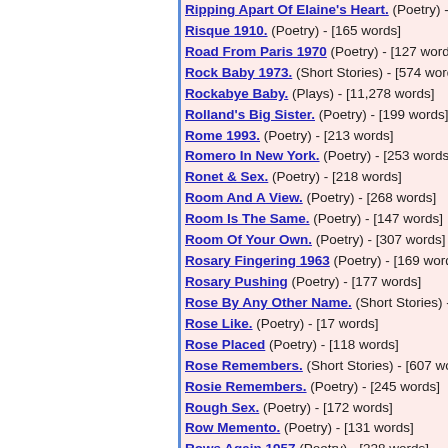Ripping Apart Of Elaine's Heart. (Poetry) - [31...
Risque 1910. (Poetry) - [165 words]
Road From Paris 1970 (Poetry) - [127 words]
Rock Baby 1973. (Short Stories) - [574 words]
Rockabye Baby. (Plays) - [11,278 words]
Rolland's Big Sister. (Poetry) - [199 words]
Rome 1993. (Poetry) - [213 words]
Romero In New York. (Poetry) - [253 words]
Ronet & Sex. (Poetry) - [218 words]
Room And A View. (Poetry) - [268 words]
Room Is The Same. (Poetry) - [147 words]
Room Of Your Own. (Poetry) - [307 words]
Rosary Fingering 1963 (Poetry) - [169 words]
Rosary Pushing (Poetry) - [177 words]
Rose By Any Other Name. (Short Stories) - [2...
Rose Like. (Poetry) - [17 words]
Rose Placed (Poetry) - [118 words]
Rose Remembers. (Short Stories) - [607 words]
Rosie Remembers. (Poetry) - [245 words]
Rough Sex. (Poetry) - [172 words]
Row Memento. (Poetry) - [131 words]
Rows Again 1957 (Poetry) - [228 words]
Rozzer On A Bomb Site 1957 (Poetry) - [221...
Rubber Of The Rosary. (Poetry) - [292 words]
Rubbing Noses. (Poetry) - [256 words]